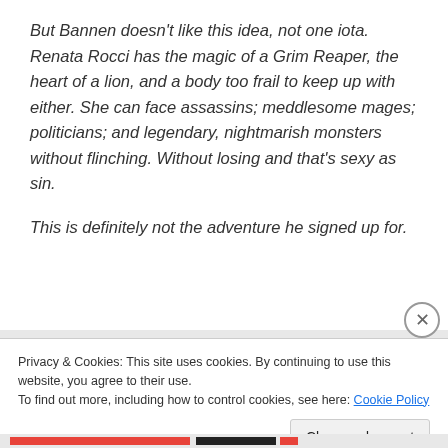But Bannen doesn't like this idea, not one iota. Renata Rocci has the magic of a Grim Reaper, the heart of a lion, and a body too frail to keep up with either. She can face assassins; meddlesome mages; politicians; and legendary, nightmarish monsters without flinching. Without losing and that's sexy as sin.
This is definitely not the adventure he signed up for.
Privacy & Cookies: This site uses cookies. By continuing to use this website, you agree to their use.
To find out more, including how to control cookies, see here: Cookie Policy
Close and accept